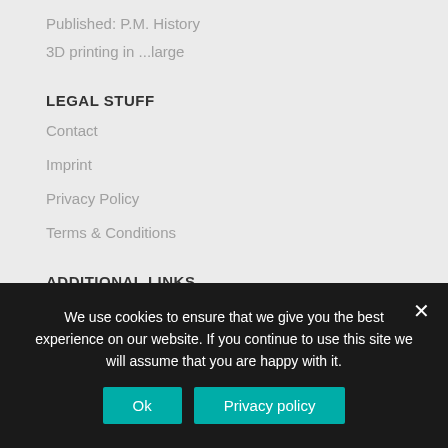Published: P.M. History
3D printing in ...large
LEGAL STUFF
Contact
Imprint
Privacy Policy
Terms & Conditions
ADDITIONAL LINKS
Animations
Press/Publications
We use cookies to ensure that we give you the best experience on our website. If you continue to use this site we will assume that you are happy with it.